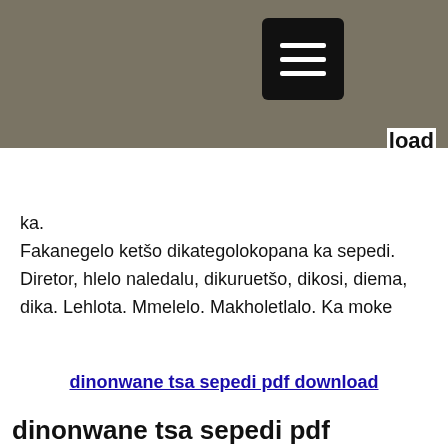[Figure (screenshot): Dark olive/tan header bar with a black square menu button (hamburger icon with three horizontal white lines) and partially visible text 'load' on the right side]
ka.
Fakanegelo ketšo dikategolokopana ka sepedi. Diretor, hlelo naledalu, dikuruetšo, dikosi, diema, dika. Lehlota. Mmelelo. Makholetlalo. Ka moke
dinonwane tsa sepedi pdf download
dinonwane tsa sepedi pdf